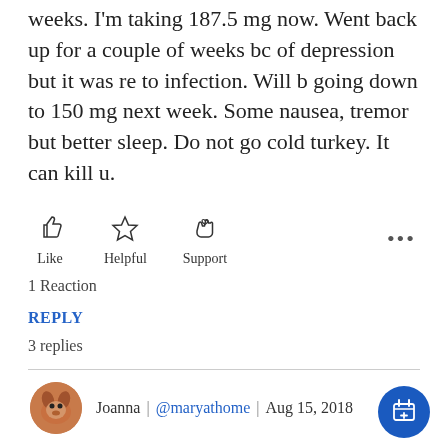suggested reducing by 37.5 mg every 2 weeks. I'm taking 187.5 mg now. Went back up for a couple of weeks bc of depression but it was re to infection. Will b going down to 150 mg next week. Some nausea, tremor but better sleep. Do not go cold turkey. It can kill u.
[Figure (infographic): Social reaction buttons: Like (thumbs up icon), Helpful (star icon), Support (hand with heart icon), and three-dot menu]
1 Reaction
REPLY
3 replies
Joanna | @maryathome | Aug 15, 2018